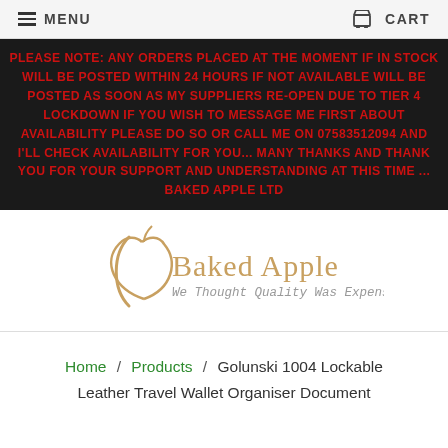MENU   CART
PLEASE NOTE: ANY ORDERS PLACED AT THE MOMENT IF IN STOCK WILL BE POSTED WITHIN 24 HOURS IF NOT AVAILABLE WILL BE POSTED AS SOON AS MY SUPPLIERS RE-OPEN DUE TO TIER 4 LOCKDOWN IF YOU WISH TO MESSAGE ME FIRST ABOUT AVAILABILITY PLEASE DO SO OR CALL ME ON 07583512094 AND I'LL CHECK AVAILABILITY FOR YOU... MANY THANKS AND THANK YOU FOR YOUR SUPPORT AND UNDERSTANDING AT THIS TIME ... BAKED APPLE LTD
[Figure (logo): Baked Apple logo with apple outline illustration and text 'Baked Apple - We Thought Quality Was Expensive Too...']
Home / Products / Golunski 1004 Lockable Leather Travel Wallet Organiser Document